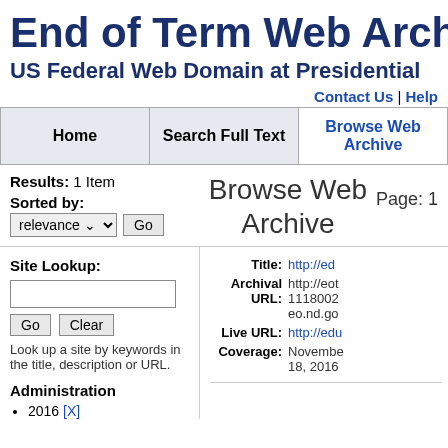End of Term Web Archive
US Federal Web Domain at Presidential
Contact Us | Help
| Home | Search Full Text | Browse Web Archive |
| --- | --- | --- |
Results: 1 Item
Browse Web Archive
Page: 1
Sorted by:
Site Lookup:
Look up a site by keywords in the title, description or URL.
Administration
2016 [X]
Title: http://ed
Archival URL: http://eot 1118002 eo.nd.go
Live URL: http://edu
Coverage: November 18, 2016